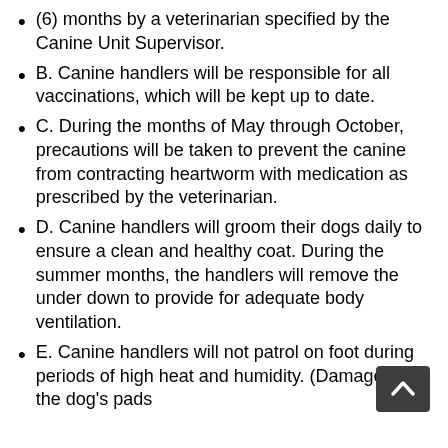(6) months by a veterinarian specified by the Canine Unit Supervisor.
B. Canine handlers will be responsible for all vaccinations, which will be kept up to date.
C. During the months of May through October, precautions will be taken to prevent the canine from contracting heartworm with medication as prescribed by the veterinarian.
D. Canine handlers will groom their dogs daily to ensure a clean and healthy coat. During the summer months, the handlers will remove the under down to provide for adequate body ventilation.
E. Canine handlers will not patrol on foot during periods of high heat and humidity. (Damage to the dog's pads